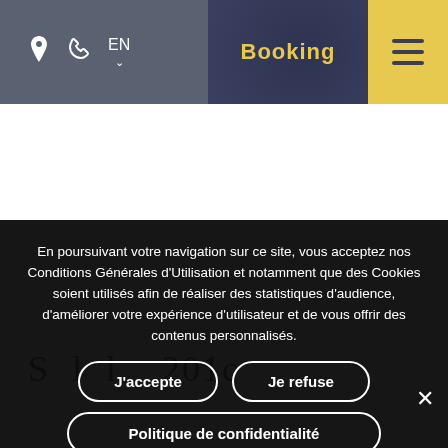[Figure (screenshot): Website navigation bar with location icon, phone icon, EN language selector, Booking link (dark background with decorative pattern), and hamburger menu (yellow background)]
En poursuivant votre navigation sur ce site, vous acceptez nos Conditions Générales d'Utilisation et notamment que des Cookies soient utilisés afin de réaliser des statistiques d'audience, d'améliorer votre expérience d'utilisateur et de vous offrir des contenus personnalisés.
J'accepte
Je refuse
Politique de confidentialité